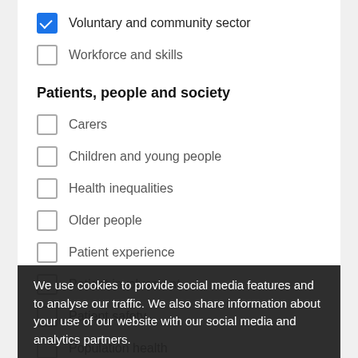Voluntary and community sector (checked)
Workforce and skills (unchecked)
Patients, people and society
Carers (unchecked)
Children and young people (unchecked)
Health inequalities (unchecked)
Older people (unchecked)
Patient experience (unchecked)
Patient involvement (unchecked)
Patient safety (unchecked)
Population health (unchecked)
Technology and data (checked)
Policy, finance and performance
Accessing and using services
Commissioning and contracting
We use cookies to provide social media features and to analyse our traffic. We also share information about your use of our website with our social media and analytics partners.